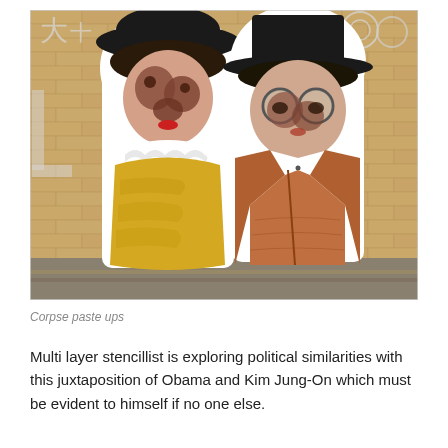[Figure (photo): Street art paste-up on a brick wall showing two stylized figures: on the left a figure wearing a hat and yellow dress with white ruffled collar and a red necklace, and on the right a figure wearing a top hat, round glasses, and a brown/orange suit with white shirt. The figures have surreal, distorted faces with dark features. Graffiti and white graphic symbols are visible on the brick wall behind them.]
Corpse paste ups
Multi layer stencillist is exploring political similarities with this juxtaposition of Obama and Kim Jung-On which must be evident to himself if no one else.